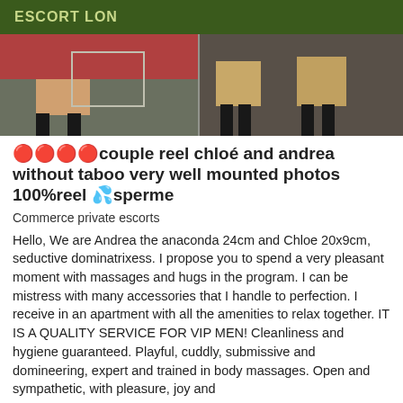ESCORT LON
[Figure (photo): Photo strip showing legs of two women standing on a dark carpet floor, one wearing red and one wearing dark outfit with high heels.]
🔴🔴🔴🔴couple reel chloé and andrea without taboo very well mounted photos 100%reel 💦sperme
Commerce private escorts
Hello, We are Andrea the anaconda 24cm and Chloe 20x9cm, seductive dominatrixess. I propose you to spend a very pleasant moment with massages and hugs in the program. I can be mistress with many accessories that I handle to perfection. I receive in an apartment with all the amenities to relax together. IT IS A QUALITY SERVICE FOR VIP MEN! Cleanliness and hygiene guaranteed. Playful, cuddly, submissive and domineering, expert and trained in body massages. Open and sympathetic, with pleasure, joy and